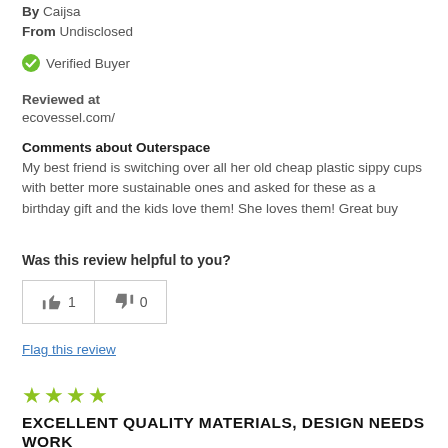By Caijsa
From Undisclosed
✓ Verified Buyer
Reviewed at ecovessel.com/
Comments about Outerspace
My best friend is switching over all her old cheap plastic sippy cups with better more sustainable ones and asked for these as a birthday gift and the kids love them! She loves them! Great buy
Was this review helpful to you?
[Figure (other): Thumbs up button with count 1, thumbs down button with count 0]
Flag this review
[Figure (other): 4 green stars rating]
EXCELLENT QUALITY MATERIALS, DESIGN NEEDS WORK